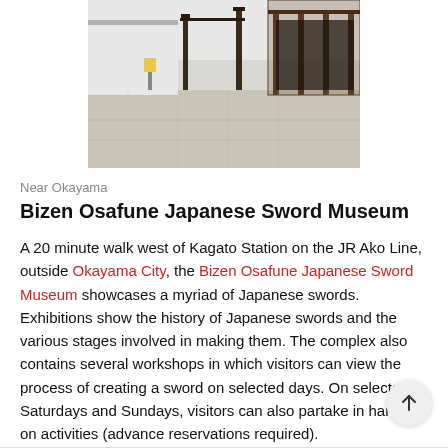[Figure (photo): Exterior photo of the Bizen Osafune Japanese Sword Museum showing a courtyard with a torii-style gate structure, wooden pergola, and grey paved plaza under clear sky]
Near Okayama
Bizen Osafune Japanese Sword Museum
A 20 minute walk west of Kagato Station on the JR Ako Line, outside Okayama City, the Bizen Osafune Japanese Sword Museum showcases a myriad of Japanese swords. Exhibitions show the history of Japanese swords and the various stages involved in making them. The complex also contains several workshops in which visitors can view the process of creating a sword on selected days. On selected Saturdays and Sundays, visitors can also partake in hands-on activities (advance reservations required).